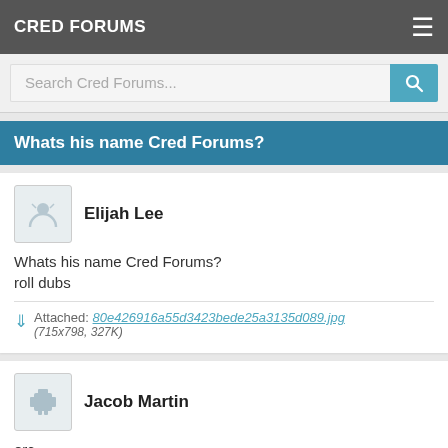CRED FORUMS
Search Cred Forums...
Whats his name Cred Forums?
Elijah Lee
Whats his name Cred Forums?
roll dubs
Attached: 80e426916a55d3423bede25a3135d089.jpg (715x798, 327K)
Jacob Martin
orc